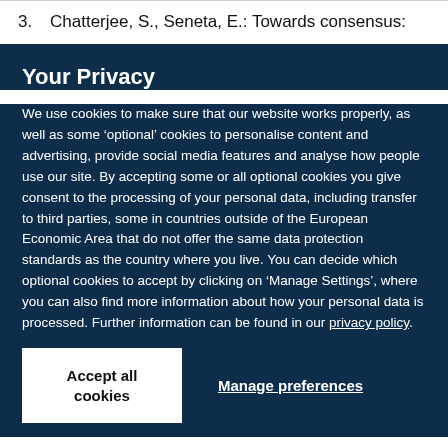3. Chatterjee, S., Seneta, E.: Towards consensus:
Your Privacy
We use cookies to make sure that our website works properly, as well as some ‘optional’ cookies to personalise content and advertising, provide social media features and analyse how people use our site. By accepting some or all optional cookies you give consent to the processing of your personal data, including transfer to third parties, some in countries outside of the European Economic Area that do not offer the same data protection standards as the country where you live. You can decide which optional cookies to accept by clicking on ‘Manage Settings’, where you can also find more information about how your personal data is processed. Further information can be found in our privacy policy.
Accept all cookies
Manage preferences